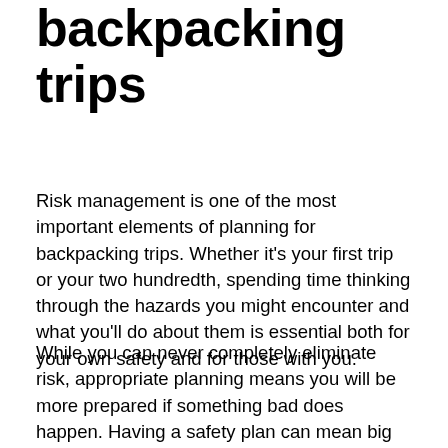backpacking trips
Risk management is one of the most important elements of planning for backpacking trips. Whether it's your first trip or your two hundredth, spending time thinking through the hazards you might encounter and what you'll do about them is essential both for your own safety and for those with you.
While you can never completely eliminate risk, appropriate planning means you will be more prepared if something bad does happen. Having a safety plan can mean big wins like smarter decision making, shorter time to receive rescue assistance, or the ability to handle the situation